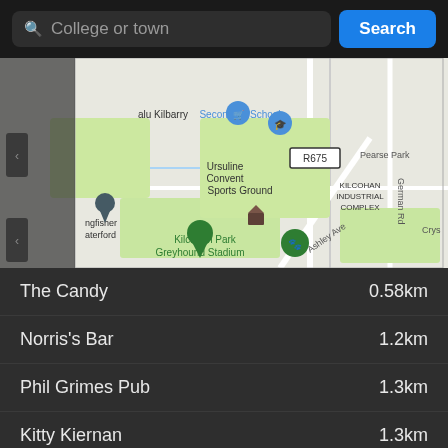College or town
Search
[Figure (map): Google Maps view showing Kilbarry area of Waterford, Ireland, with landmarks including Secondary School, Ursuline Convent Sports Ground, Kilcohan Industrial Complex, Kilcohan Park Greyhound Stadium, R675 road, Ashley Ave, Pearse Park, German Rd, Old Tramore Road. Green map pins visible for Kilcohan Park Greyhound Stadium and another location. A house icon marker is visible.]
The Candy    0.58km
Norris's Bar    1.2km
Phil Grimes Pub    1.3km
Kitty Kiernan    1.3km
Wander Inn    1.4km
Cafe